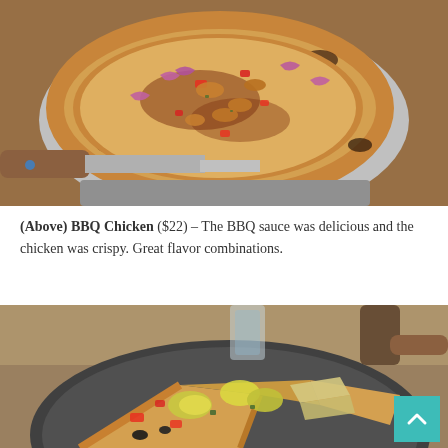[Figure (photo): A BBQ Chicken pizza on a metal pan with a wooden-handled pizza server/spatula underneath. The pizza is topped with BBQ sauce, melted cheese, red onions, peppers, and crispy chicken pieces. Photographed from a close angle on a wooden table.]
(Above) BBQ Chicken ($22) – The BBQ sauce was delicious and the chicken was crispy. Great flavor combinations.
[Figure (photo): A close-up photo of slices of a vegetable pizza on a round metal pan. The pizza features colorful toppings including zucchini, artichoke hearts, red peppers, olives, and other roasted vegetables on a thin crust. A wooden-handled pizza server is visible in the background along with glasses.]